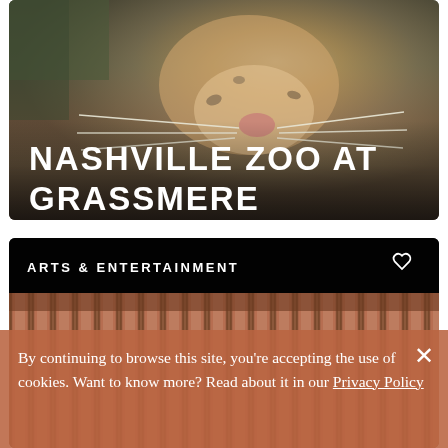[Figure (photo): Close-up photo of a leopard or large spotted cat face with whiskers, overlaid with bold white uppercase text reading NASHVILLE ZOO AT GRASSMERE]
NASHVILLE ZOO AT GRASSMERE
[Figure (photo): Dark card with ARTS & ENTERTAINMENT label and heart icon at top, showing a partially visible image of terracotta/orange pillars or architectural columns below]
ARTS & ENTERTAINMENT
By continuing to browse this site, you’re accepting the use of cookies. Want to know more? Read about it in our Privacy Policy